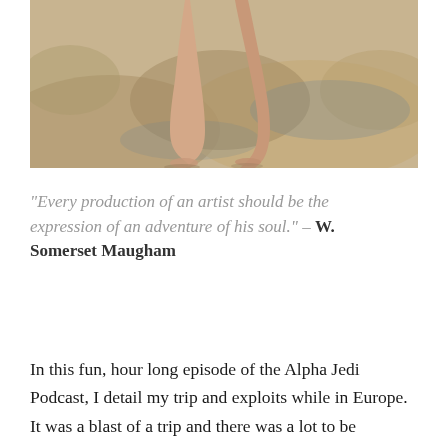[Figure (photo): A person's bare legs and feet walking on rocky terrain near water; rocks and shallow water visible in background]
"Every production of an artist should be the expression of an adventure of his soul." – W. Somerset Maugham
In this fun, hour long episode of the Alpha Jedi Podcast, I detail my trip and exploits while in Europe. It was a blast of a trip and there was a lot to be experienced and observed. Some of the topics I cover are the differences